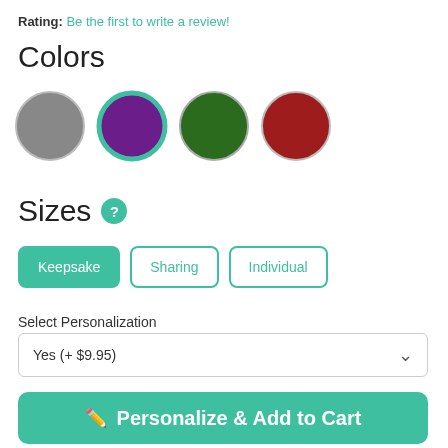Rating: Be the first to write a review!
Colors
[Figure (other): Four color swatch circles: gray, purple (selected with teal border), dark green, dark red]
Sizes
Keepsake  Sharing  Individual
Select Personalization
Yes (+ $9.95)
Personalize & Add to Cart
Order it today and your memorial ships Monday, August 29th